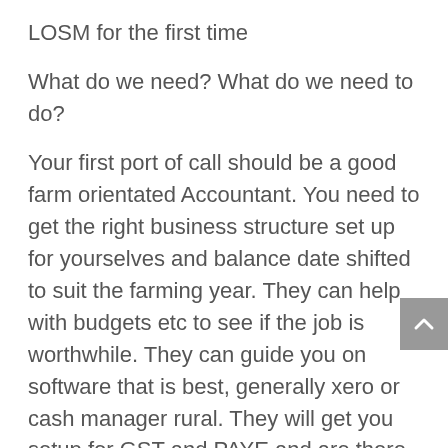LOSM for the first time
What do we need? What do we need to do?
Your first port of call should be a good farm orientated Accountant. You need to get the right business structure set up for yourselves and balance date shifted to suit the farming year. They can help with budgets etc to see if the job is worthwhile. They can guide you on software that is best, generally xero or cash manager rural. They will get you setup for GST and PAYE and are there to help and guide you though any questions you may have.